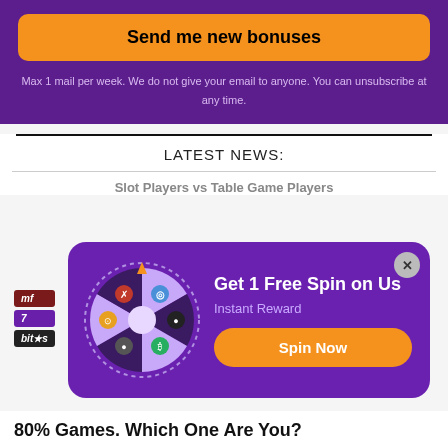Send me new bonuses
Max 1 mail per week. We do not give your email to anyone. You can unsubscribe at any time.
LATEST NEWS:
Slot Players vs Table Game Players
[Figure (infographic): Popup with a spin wheel offering '1 Free Spin'. Wheel has 6 colored segments with crypto-style icons. Right side shows 'Get 1 Free Spin on Us', 'Instant Reward', and an orange 'Spin Now' button.]
80% ... Games. Which One Are You?